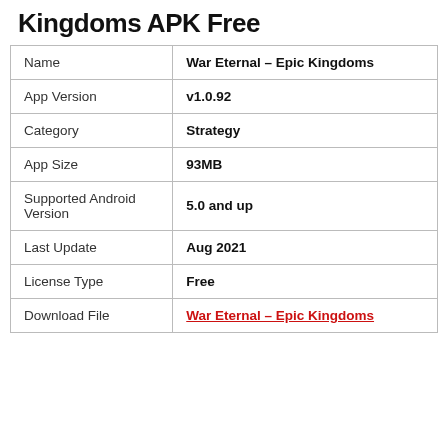Kingdoms APK Free
|  |  |
| --- | --- |
| Name | War Eternal – Epic Kingdoms |
| App Version | v1.0.92 |
| Category | Strategy |
| App Size | 93MB |
| Supported Android Version | 5.0 and up |
| Last Update | Aug 2021 |
| License Type | Free |
| Download File | War Eternal – Epic Kingdoms |